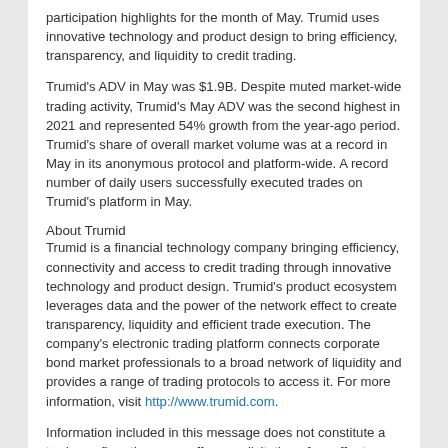participation highlights for the month of May. Trumid uses innovative technology and product design to bring efficiency, transparency, and liquidity to credit trading.
Trumid's ADV in May was $1.9B. Despite muted market-wide trading activity, Trumid's May ADV was the second highest in 2021 and represented 54% growth from the year-ago period. Trumid's share of overall market volume was at a record in May in its anonymous protocol and platform-wide. A record number of daily users successfully executed trades on Trumid's platform in May.
About Trumid
Trumid is a financial technology company bringing efficiency, connectivity and access to credit trading through innovative technology and product design. Trumid's product ecosystem leverages data and the power of the network effect to create transparency, liquidity and efficient trade execution. The company's electronic trading platform connects corporate bond market professionals to a broad network of liquidity and provides a range of trading protocols to access it. For more information, visit http://www.trumid.com.
Information included in this message does not constitute a trade confirmation or an offer or solicitation of an offer to